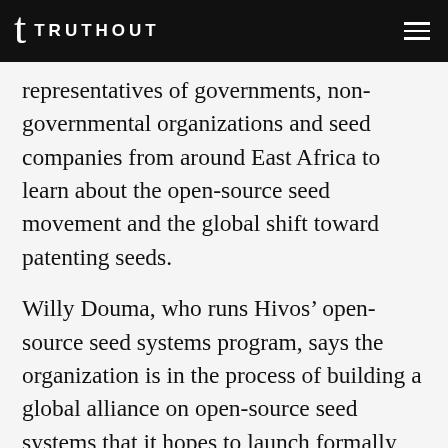TRUTHOUT
representatives of governments, non-governmental organizations and seed companies from around East Africa to learn about the open-source seed movement and the global shift toward patenting seeds.
Willy Douma, who runs Hivos’ open-source seed systems program, says the organization is in the process of building a global alliance on open-source seed systems that it hopes to launch formally next year. A coalition of environmental and development groups